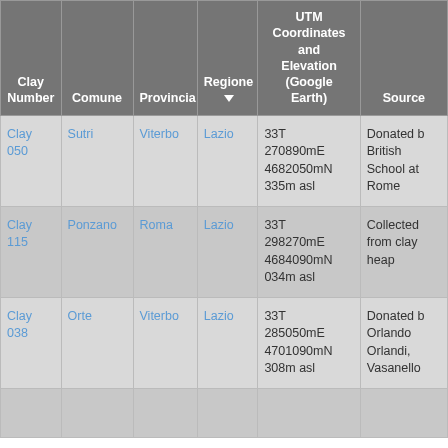| Clay Number | Comune | Provincia | Regione | UTM Coordinates and Elevation (Google Earth) | Source |
| --- | --- | --- | --- | --- | --- |
| Clay 050 | Sutri | Viterbo | Lazio | 33T 270890mE 4682050mN 335m asl | Donated b British School at Rome |
| Clay 115 | Ponzano | Roma | Lazio | 33T 298270mE 4684090mN 034m asl | Collected from clay heap |
| Clay 038 | Orte | Viterbo | Lazio | 33T 285050mE 4701090mN 308m asl | Donated b Orlando Orlandi, Vasanello |